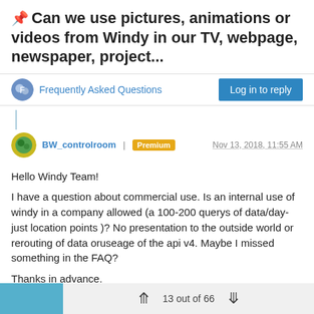📌 Can we use pictures, animations or videos from Windy in our TV, webpage, newspaper, project...
Frequently Asked Questions
BW_controlroom | Premium   Nov 13, 2018, 11:55 AM
Hello Windy Team!

I have a question about commercial use. Is an internal use of windy in a company allowed (a 100-200 querys of data/day-just location points )? No presentation to the outside world or rerouting of data oruseage of the api v4. Maybe I missed something in the FAQ?

Thanks in advance.

Best regards

w_vs_v
13 out of 66